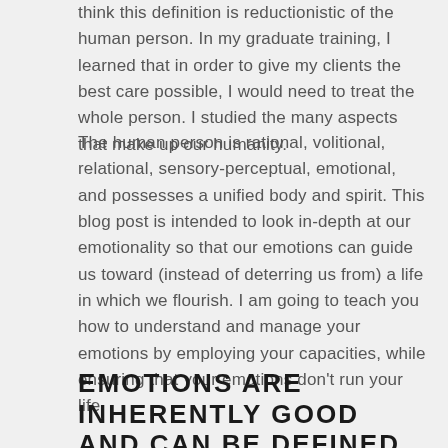think this definition is reductionistic of the human person. In my graduate training, I learned that in order to give my clients the best care possible, I would need to treat the whole person. I studied the many aspects that make up our humanity.
The human person is rational, volitional, relational, sensory-perceptual, emotional, and possesses a unified body and spirit. This blog post is intended to look in-depth at our emotionality so that our emotions can guide us toward (instead of deterring us from) a life in which we flourish. I am going to teach you how to understand and manage your emotions by employing your capacities, while ensuring that your emotions don't run your life.
EMOTIONS ARE INHERENTLY GOOD AND CAN BE DEFINED AS A BASIC HUMAN CAPACITY